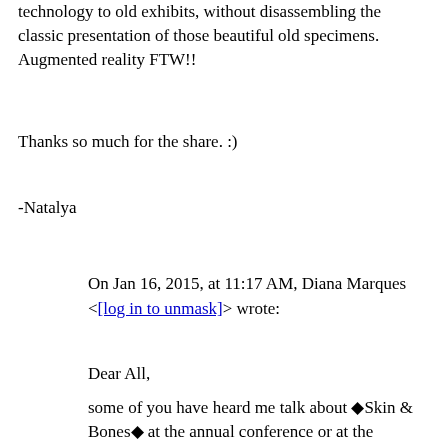technology to old exhibits, without disassembling the classic presentation of those beautiful old specimens. Augmented reality FTW!!
Thanks so much for the share. :)
-Natalya
On Jan 16, 2015, at 11:17 AM, Diana Marques <[log in to unmask]> wrote:
Dear All,
some of you have heard me talk about ◆Skin & Bones◆ at the annual conference or at the GNSI-DC chapter. So I thought I would share the good news that the new mobile app for the Smithsonian◆s Natural History Museum is finally out!